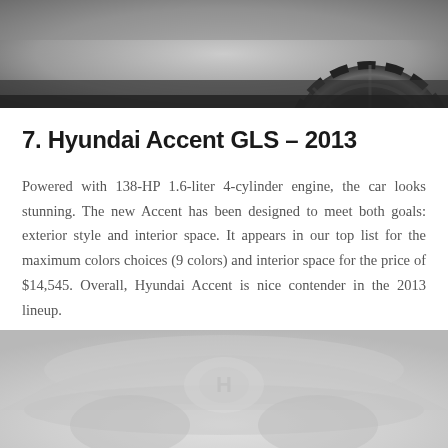[Figure (photo): Top portion of a car photo showing a wheel/tire on a dark background, cropped at the top of the page]
7. Hyundai Accent GLS – 2013
Powered with 138-HP 1.6-liter 4-cylinder engine, the car looks stunning. The new Accent has been designed to meet both goals: exterior style and interior space. It appears in our top list for the maximum colors choices (9 colors) and interior space for the price of $14,545. Overall, Hyundai Accent is nice contender in the 2013 lineup.
[Figure (photo): Bottom portion of a car photo on a light grey background, partially visible at the bottom of the page]